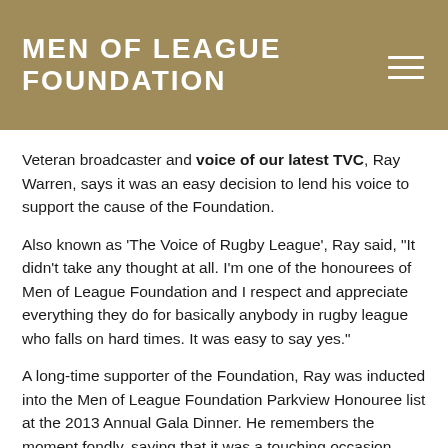MEN OF LEAGUE FOUNDATION
Veteran broadcaster and voice of our latest TVC, Ray Warren, says it was an easy decision to lend his voice to support the cause of the Foundation.
Also known as 'The Voice of Rugby League', Ray said, "It didn't take any thought at all. I'm one of the honourees of Men of League Foundation and I respect and appreciate everything they do for basically anybody in rugby league who falls on hard times. It was easy to say yes."
A long-time supporter of the Foundation, Ray was inducted into the Men of League Foundation Parkview Honouree list at the 2013 Annual Gala Dinner. He remembers the moment fondly, saying that it was a touching occasion.
"[The plaque] hangs proudly in my office. I'm looking at it